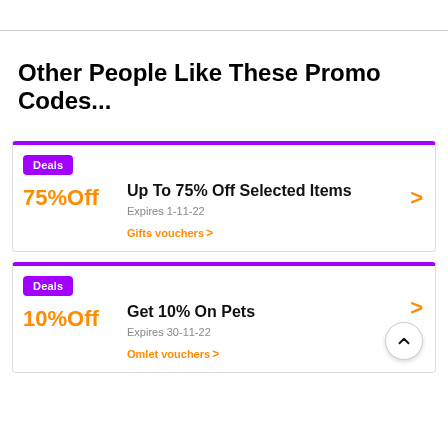Other People Like These Promo Codes...
Deals — Up To 75% Off Selected Items — Expires 1-11-22 — Gifts vouchers
Deals — Get 10% On Pets — Expires 30-11-22 — Omlet vouchers